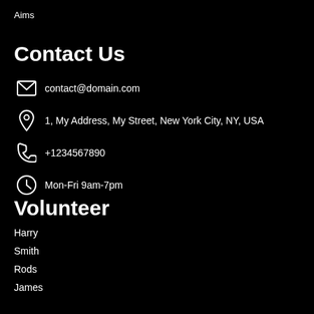Aims
Contact Us
contact@domain.com
1, My Address, My Street, New York City, NY, USA
+1234567890
Mon-Fri 9am-7pm
Volunteer
Harry
Smith
Rods
James